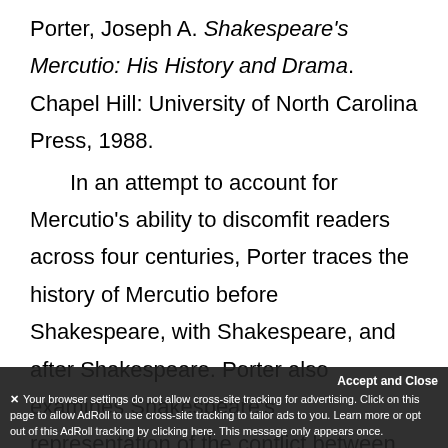Porter, Joseph A. Shakespeare's Mercutio: His History and Drama. Chapel Hill: University of North Carolina Press, 1988.
In an attempt to account for Mercutio's ability to discomfit readers across four centuries, Porter traces the history of Mercutio before Shakespeare, with Shakespeare, and after Shakespeare. Porter also examines Shakespeare's representation of the conflict between male
Accept and Close
✕ Your browser settings do not allow cross-site tracking for advertising. Click on this page to allow AdRoll to use cross-site tracking to tailor ads to you. Learn more or opt out of this AdRoll tracking by clicking here. This message only appears once.